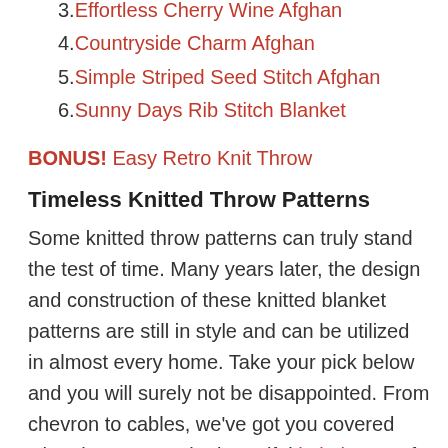2. Endless Cables Knit Throw
3. Effortless Cherry Wine Afghan
4. Countryside Charm Afghan
5. Simple Striped Seed Stitch Afghan
6. Sunny Days Rib Stitch Blanket
BONUS! Easy Retro Knit Throw
Timeless Knitted Throw Patterns
Some knitted throw patterns can truly stand the test of time. Many years later, the design and construction of these knitted blanket patterns are still in style and can be utilized in almost every home. Take your pick below and you will surely not be disappointed. From chevron to cables, we've got you covered when it comes to the beautiful knit throws of your childhood.